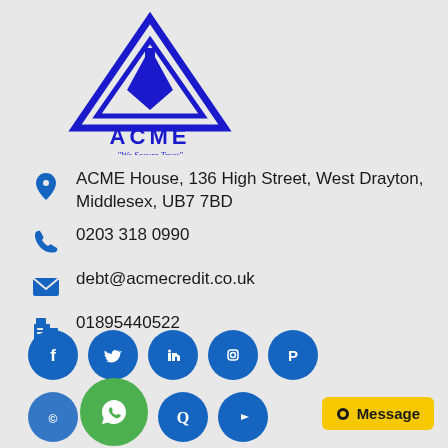[Figure (logo): ACME Credit logo — blue triangular/diamond geometric mark above the text ACME and tagline 'We Secure Trust']
ACME House, 136 High Street, West Drayton, Middlesex, UB7 7BD
0203 318 0990
debt@acmecredit.co.uk
01895440522
[Figure (illustration): Row of blue circular social media icons: Facebook, Twitter, LinkedIn, Instagram, Pinterest; second row: partial icon, WhatsApp (green), Quora, YouTube]
Message